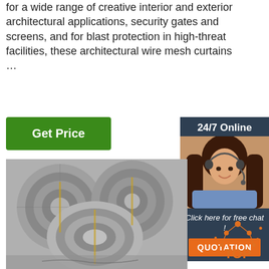for a wide range of creative interior and exterior architectural applications, security gates and screens, and for blast protection in high-threat facilities, these architectural wire mesh curtains …
[Figure (other): Green 'Get Price' button]
[Figure (other): 24/7 Online chat sidebar with photo of woman with headset, 'Click here for free chat!' text, and orange QUOTATION button]
[Figure (photo): Large coils of galvanized steel wire stacked in a warehouse]
[Figure (logo): Orange TOP logo with network/dot graphic in bottom right corner]